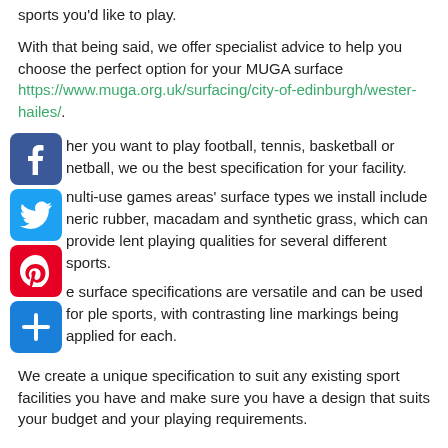sports you'd like to play.
With that being said, we offer specialist advice to help you choose the perfect option for your MUGA surface https://www.muga.org.uk/surfacing/city-of-edinburgh/wester-hailes/.
[Figure (other): Social media sharing icons: Facebook (blue), Twitter (blue), Pinterest (red), and a plus/share button (blue), stacked vertically on the left side of the page]
her you want to play football, tennis, basketball or netball, we ou the best specification for your facility.
nulti-use games areas' surface types we install include neric rubber, macadam and synthetic grass, which can provide lent playing qualities for several different sports.
e surface specifications are versatile and can be used for ple sports, with contrasting line markings being applied for each.
We create a unique specification to suit any existing sport facilities you have and make sure you have a design that suits your budget and your playing requirements.